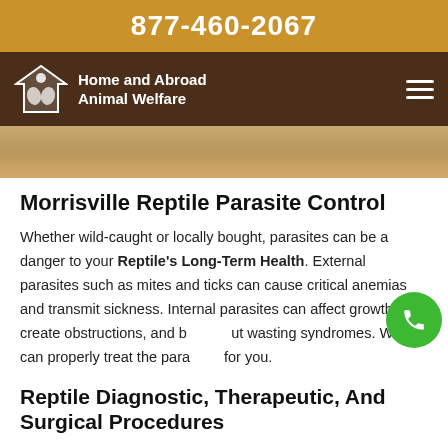877-460-2067
Home and Abroad Animal Welfare
[Figure (photo): Partial view of a reptile or animal on a wooden surface, cropped hero image]
Morrisville Reptile Parasite Control
Whether wild-caught or locally bought, parasites can be a danger to your Reptile's Long-Term Health. External parasites such as mites and ticks can cause critical anemias and transmit sickness. Internal parasites can affect growth, create obstructions, and bring about wasting syndromes. We can properly treat the parasites for you.
Reptile Diagnostic, Therapeutic, And Surgical Procedures